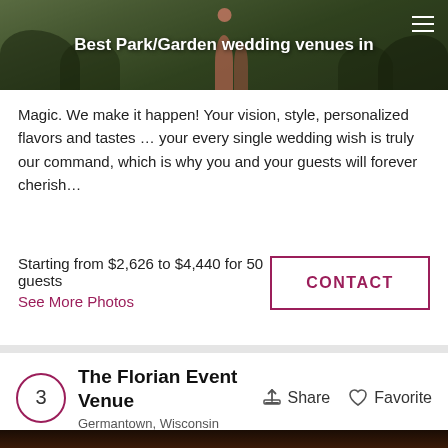[Figure (photo): Header photo of a park/garden wedding venue with greenery and couple, with overlay text 'Best Park/Garden wedding venues in' and hamburger menu icon]
Magic. We make it happen! Your vision, style, personalized flavors and tastes … your every single wedding wish is truly our command, which is why you and your guests will forever cherish…
Starting from $2,626 to $4,440 for 50 guests
See More Photos
CONTACT
The Florian Event Venue
Germantown, Wisconsin
Share
Favorite
[Figure (photo): Interior photo of The Florian Event Venue showing warm amber/orange lighting with ceiling lights reflected on a dark floor]